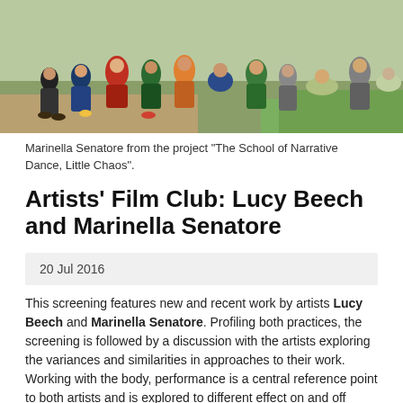[Figure (photo): Group of children and adults sitting and crouching outdoors on grass and dirt, outdoor setting.]
Marinella Senatore from the project "The School of Narrative Dance, Little Chaos".
Artists' Film Club: Lucy Beech and Marinella Senatore
20 Jul 2016
This screening features new and recent work by artists Lucy Beech and Marinella Senatore. Profiling both practices, the screening is followed by a discussion with the artists exploring the variances and similarities in approaches to their work. Working with the body, performance is a central reference point to both artists and is explored to different effect on and off screen.
Lucy Beech (Born 1985, lives and works in London). Beech's work